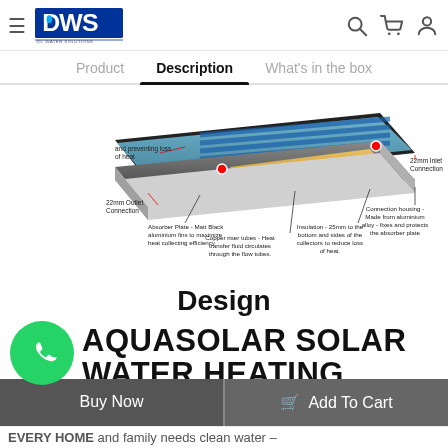DWS — navigation header with hamburger, logo, search, cart, account icons
Product | Description (active) | What's in the box
[Figure (engineering-diagram): Cross-section diagram of a flat-plate solar collector showing: 'and preventing loss of heat' label at top-left; '22mm Outlet Connection' label at left; 'Absorber Plate - Matt Black aluminium fins to maximize heat collecting efficiency' label center-left; 'Copper riser tubes - Heat transfer fluid circulates through the flow tubes.' label center; 'Insulation - 25mm to the bottom and sides of the collectors to reduce loss of heat.' label center-right; 'Connection housing - Made from aluminium alloy - fixes and protects the absorber plate' label right; '22mm Inlet Connection' label far right. Red arrows indicate connection points.]
Design
[Figure (logo): WhatsApp chat button — green circle with white phone/chat icon]
AQUASOLAR SOLAR WATER HEATING SYSTEM
Buy Now | Add To Cart
EVERY HOME and family needs clean water –